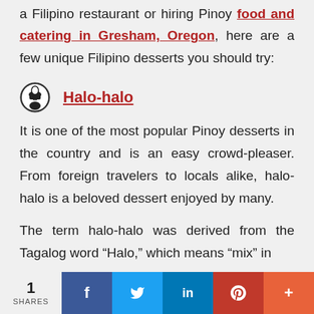a Filipino restaurant or hiring Pinoy food and catering in Gresham, Oregon, here are a few unique Filipino desserts you should try:
Halo-halo
It is one of the most popular Pinoy desserts in the country and is an easy crowd-pleaser. From foreign travelers to locals alike, halo-halo is a beloved dessert enjoyed by many.
The term halo-halo was derived from the Tagalog word “Halo,” which means “mix” in
1 SHARES | Facebook | Twitter | LinkedIn | Pinterest | More